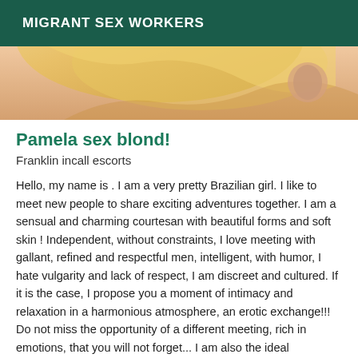MIGRANT SEX WORKERS
[Figure (photo): Cropped photo showing the back of a blonde woman's head and shoulder, close-up view]
Pamela sex blond!
Franklin incall escorts
Hello, my name is . I am a very pretty Brazilian girl. I like to meet new people to share exciting adventures together. I am a sensual and charming courtesan with beautiful forms and soft skin ! Independent, without constraints, I love meeting with gallant, refined and respectful men, intelligent, with humor, I hate vulgarity and lack of respect, I am discreet and cultured. If it is the case, I propose you a moment of intimacy and relaxation in a harmonious atmosphere, an erotic exchange!!! Do not miss the opportunity of a different meeting, rich in emotions, that you will not forget... I am also the ideal companion to provide you with the perfect date. Please